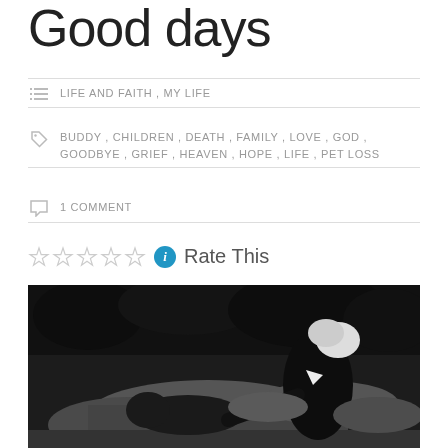Good days
LIFE AND FAITH, MY LIFE
BUDDY, CHILDREN, DEATH, FAMILY, LOVE, GOD, GOODBYE, GRIEF, HEAVEN, HOPE, LIFE, PET LOSS
1 COMMENT
Rate This
[Figure (photo): Black and white photograph of a blonde woman in dark clothing bending over a dog (appears to be a dachshund) resting on rocks, with dark foliage in the background.]